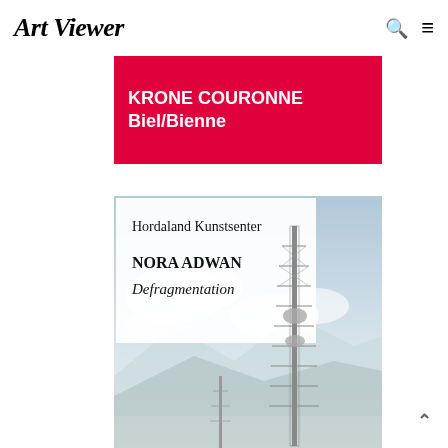Art Viewer
KRONE COURONNE
Biel/Bienne
[Figure (photo): Book cover for 'Hordaland Kunstsenter – NORA ADWAN: Defragmentation' showing tall communication/antenna towers against a cloudy sky with mountains in background.]